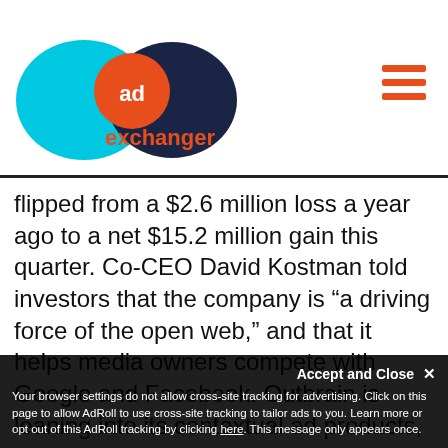[Figure (logo): AdExchanger logo: cyan oval overlapping dark navy oval with orange circle containing white 'ad' text, and 'exchanger' in orange text below]
flipped from a $2.6 million loss a year ago to a net $15.2 million gain this quarter. Co-CEO David Kostman told investors that the company is “a driving force of the open web,” and that it helps media owners compete with Google and Facebook. Outbrain is leaning into its contextual ad products, as an alternative to cookie-based targeting. "We’ve been building and using contextual targeting technologies for about two decades now. Contextual … doesn’t use any cookies at all. That’s a very important strength for us going forward," said Yaron Galai, the other co-founder and co-CEO.
Accept and Close × Your browser settings do not allow cross-site tracking for advertising. Click on this page to allow AdRoll to use cross-site tracking to tailor ads to you. Learn more or opt out of this AdRoll tracking by clicking here. This message only appears once.